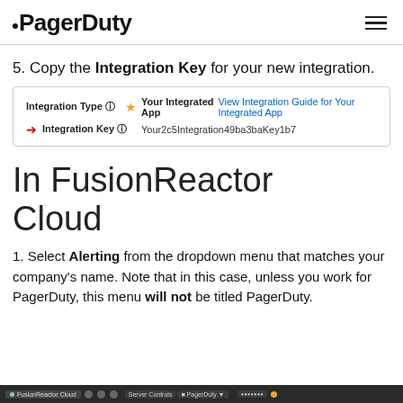PagerDuty
5. Copy the Integration Key for your new integration.
[Figure (screenshot): Screenshot of Integration Type and Integration Key fields. Integration Type shows a star icon, 'Your Integrated App' label and 'View Integration Guide for Your Integrated App' link. Integration Key row has a red arrow pointing to the key value 'Your2c5Integration49ba3baKey1b7'.]
In FusionReactor Cloud
1. Select Alerting from the dropdown menu that matches your company's name. Note that in this case, unless you work for PagerDuty, this menu will not be titled PagerDuty.
[Figure (screenshot): Bottom browser tab bar showing FusionReactor Cloud tab and other browser tabs including Server Controls and PagerDuty.]